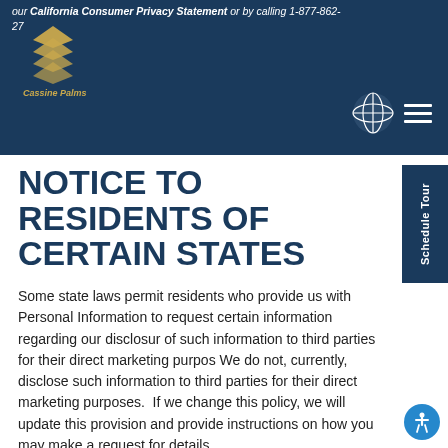our California Consumer Privacy Statement or by calling 1-877-862-27...
NOTICE TO RESIDENTS OF CERTAIN STATES
Some state laws permit residents who provide us with Personal Information to request certain information regarding our disclosure of such information to third parties for their direct marketing purposes. We do not, currently, disclose such information to third parties for their direct marketing purposes.  If we change this policy, we will update this provision and provide instructions on how you may make a request for details.
CONTROLLER & DATA PROCESSOR